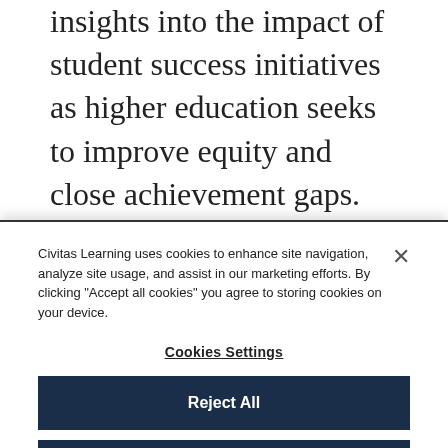insights into the impact of student success initiatives as higher education seeks to improve equity and close achievement gaps. The report, entitled What Matters Most For Equity, is first in a new volume of the Community Insights research briefs, which draw on Civitas Learning's data analytics work over eight years to explore
Civitas Learning uses cookies to enhance site navigation, analyze site usage, and assist in our marketing efforts. By clicking "Accept all cookies" you agree to storing cookies on your device.
Cookies Settings
Reject All